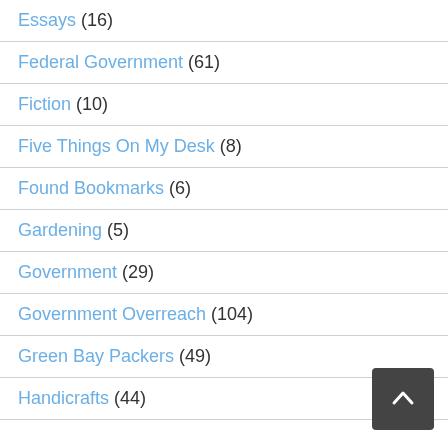Essays (16)
Federal Government (61)
Fiction (10)
Five Things On My Desk (8)
Found Bookmarks (6)
Gardening (5)
Government (29)
Government Overreach (104)
Green Bay Packers (49)
Handicrafts (44)